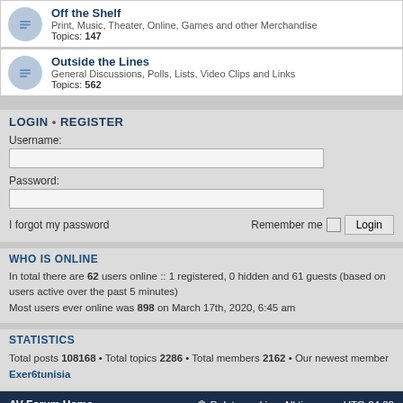Off the Shelf — Print, Music, Theater, Online, Games and other Merchandise Topics: 147
Outside the Lines — General Discussions, Polls, Lists, Video Clips and Links Topics: 562
LOGIN • REGISTER
Username:
Password:
I forgot my password   Remember me  Login
WHO IS ONLINE
In total there are 62 users online :: 1 registered, 0 hidden and 61 guests (based on users active over the past 5 minutes)
Most users ever online was 898 on March 17th, 2020, 6:45 am
STATISTICS
Total posts 108168 • Total topics 2286 • Total members 2162 • Our newest member Exer6tunisia
AV Forum Home   Delete cookies   All times are UTC-04:00
Powered by phpBB® Forum Software © phpBB Limited